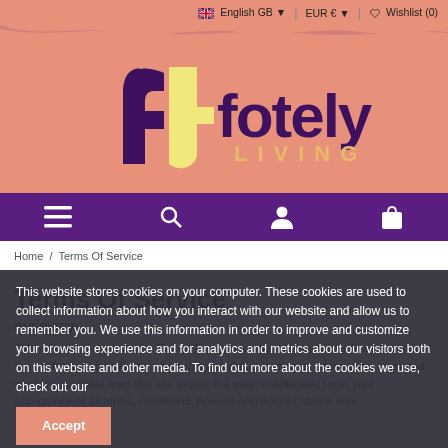English GB | EUR € | Wishlist (0)
[Figure (logo): Fotely Living logo with stylized 'f+' icon in cream/yellow on salmon/peach background, purple text]
[Figure (infographic): Navigation bar with hamburger menu, search, user account, and shopping bag icons on purple background]
Home / Terms Of Service
Terms Of Service
OVERVIEW
This website is operated by Fotely. Throughout the site, the terms "we", "us" and "our" refer to Fotely. Fotely offers this website, including all information, tools and services available from this site to you, the user, conditioned upon your acceptance of all terms, conditions, policies and notices stated here.
This website stores cookies on your computer. These cookies are used to collect information about how you interact with our website and allow us to remember you. We use this information in order to improve and customize your browsing experience and for analytics and metrics about our visitors both on this website and other media. To find out more about the cookies we use, check out our